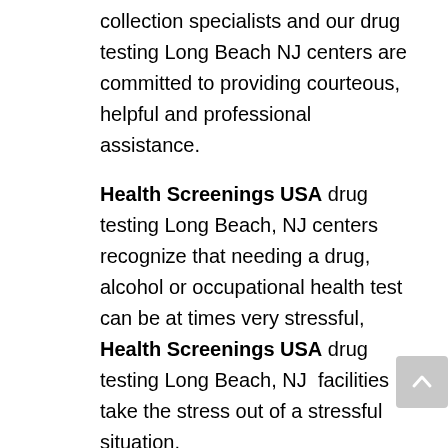collection specialists and our drug testing Long Beach NJ centers are committed to providing courteous, helpful and professional assistance.
Health Screenings USA drug testing Long Beach, NJ centers recognize that needing a drug, alcohol or occupational health test can be at times very stressful, Health Screenings USA drug testing Long Beach, NJ  facilities take the stress out of a stressful situation.
Health Screenings USA is your one stop shopping for all of your drug testing Long Beach NJ needs! Call us today (800) 219-7161.
For information regarding the effects of drug abuse – Click Here